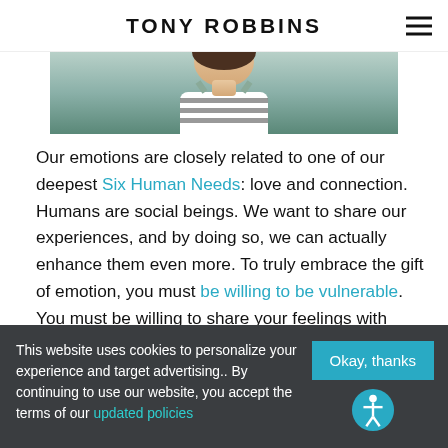TONY ROBBINS
[Figure (photo): Partial photo of a person, cropped at top, showing shoulders/upper body area with a striped top, against a teal/green background]
Our emotions are closely related to one of our deepest Six Human Needs: love and connection. Humans are social beings. We want to share our experiences, and by doing so, we can actually enhance them even more. To truly embrace the gift of emotion, you must be willing to be vulnerable. You must be willing to share your feelings with
This website uses cookies to personalize your experience and target advertising.. By continuing to use our website, you accept the terms of our updated policies